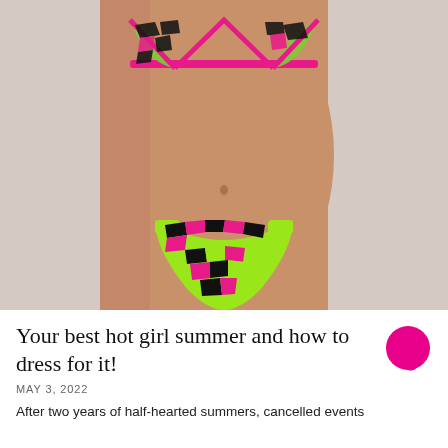[Figure (photo): Close-up photo of a model's torso wearing a neon green, pink, and black patterned bikini set (triangle top and thong-style bottoms) against a light grey background.]
Your best hot girl summer and how to dress for it!
MAY 3, 2022
After two years of half-hearted summers, cancelled events